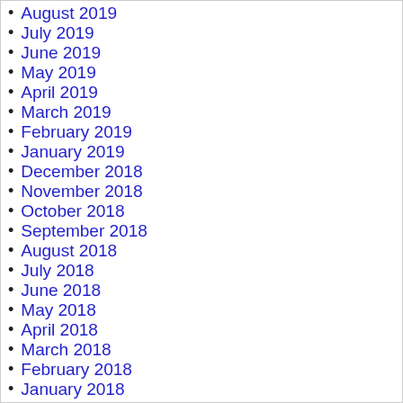August 2019
July 2019
June 2019
May 2019
April 2019
March 2019
February 2019
January 2019
December 2018
November 2018
October 2018
September 2018
August 2018
July 2018
June 2018
May 2018
April 2018
March 2018
February 2018
January 2018
December 2017
November 2017
October 2017